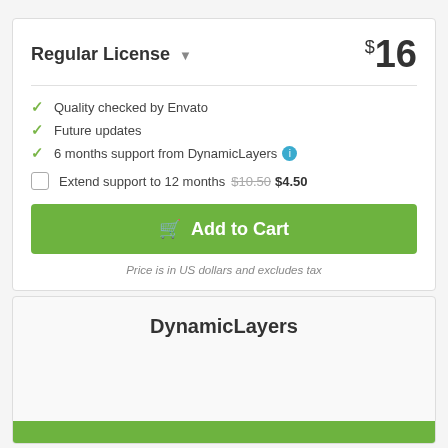Regular License
$16
Quality checked by Envato
Future updates
6 months support from DynamicLayers
Extend support to 12 months  $10.50  $4.50
Add to Cart
Price is in US dollars and excludes tax
DynamicLayers